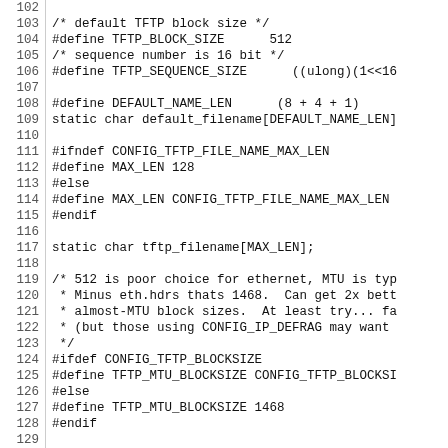Source code listing, lines 102-131, C preprocessor/TFTP definitions
102: (blank)
103: /* default TFTP block size */
104: #define TFTP_BLOCK_SIZE      512
105: /* sequence number is 16 bit */
106: #define TFTP_SEQUENCE_SIZE      ((ulong)(1<<16
107: (blank)
108: #define DEFAULT_NAME_LEN      (8 + 4 + 1)
109: static char default_filename[DEFAULT_NAME_LEN]
110: (blank)
111: #ifndef CONFIG_TFTP_FILE_NAME_MAX_LEN
112: #define MAX_LEN 128
113: #else
114: #define MAX_LEN CONFIG_TFTP_FILE_NAME_MAX_LEN
115: #endif
116: (blank)
117: static char tftp_filename[MAX_LEN];
118: (blank)
119: /* 512 is poor choice for ethernet, MTU is typ
120:  * Minus eth.hdrs thats 1468.  Can get 2x bett
121:  * almost-MTU block sizes.  At least try... fa
122:  * (but those using CONFIG_IP_DEFRAG may want
123:  */
124: #ifdef CONFIG_TFTP_BLOCKSIZE
125: #define TFTP_MTU_BLOCKSIZE CONFIG_TFTP_BLOCKSI
126: #else
127: #define TFTP_MTU_BLOCKSIZE 1468
128: #endif
129: (blank)
130: static unsigned short TftpBlkSize = TFTP_BLOCK
131: static unsigned short TftpBlkSizeOption = TFTP